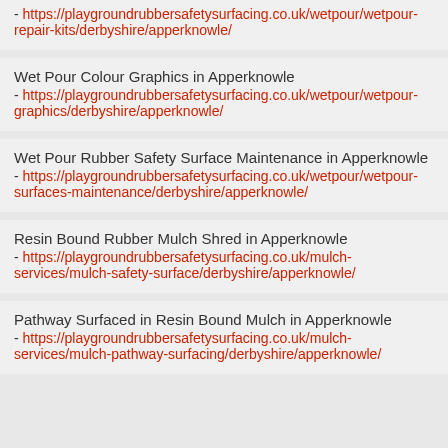- https://playgroundrubbersafetysurfacing.co.uk/wetpour/wetpour-repair-kits/derbyshire/apperknowle/
Wet Pour Colour Graphics in Apperknowle - https://playgroundrubbersafetysurfacing.co.uk/wetpour/wetpour-graphics/derbyshire/apperknowle/
Wet Pour Rubber Safety Surface Maintenance in Apperknowle - https://playgroundrubbersafetysurfacing.co.uk/wetpour/wetpour-surfaces-maintenance/derbyshire/apperknowle/
Resin Bound Rubber Mulch Shred in Apperknowle - https://playgroundrubbersafetysurfacing.co.uk/mulch-services/mulch-safety-surface/derbyshire/apperknowle/
Pathway Surfaced in Resin Bound Mulch in Apperknowle - https://playgroundrubbersafetysurfacing.co.uk/mulch-services/mulch-pathway-surfacing/derbyshire/apperknowle/